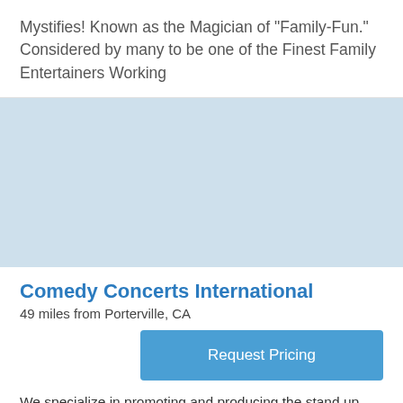Mystifies! Known as the Magician of "Family-Fun." Considered by many to be one of the Finest Family Entertainers Working
[Figure (other): Light blue placeholder image block]
Comedy Concerts International
49 miles from Porterville, CA
Request Pricing
We specialize in promoting and producing the stand up comedy / theatre show ONE MAN'S STAND with comedian Quevaughn Bryant. This event not only provides quality comedia...